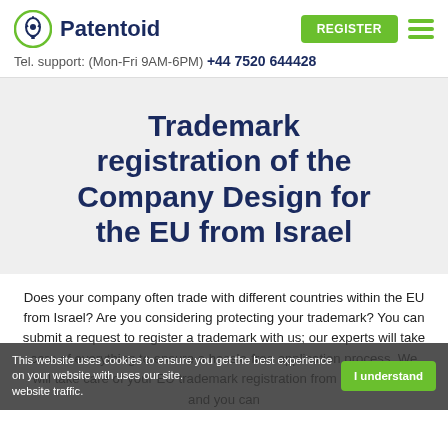Patentoid | Tel. support: (Mon-Fri 9AM-6PM) +44 7520 644428
Trademark registration of the Company Design for the EU from Israel
Does your company often trade with different countries within the EU from Israel? Are you considering protecting your trademark? You can submit a request to register a trademark with us; our experts will take care of everything to ensure a hassle-free application process. We will take care of your EU trademark registration from start to finish and you can follow on this online from the comfort of your home. All
This website uses cookies to ensure you get the best experience on your website with uses our site. I understand | website traffic.